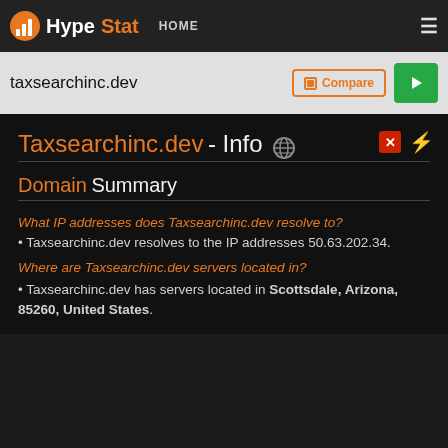HypeStat HOME
taxsearchinc.dev
Taxsearchinc.dev - Info
Domain Summary
What IP addresses does Taxsearchinc.dev resolve to?
• Taxsearchinc.dev resolves to the IP addresses 50.63.202.34.
Where are Taxsearchinc.dev servers located in?
• Taxsearchinc.dev has servers located in Scottsdale, Arizona, 85260, United States.